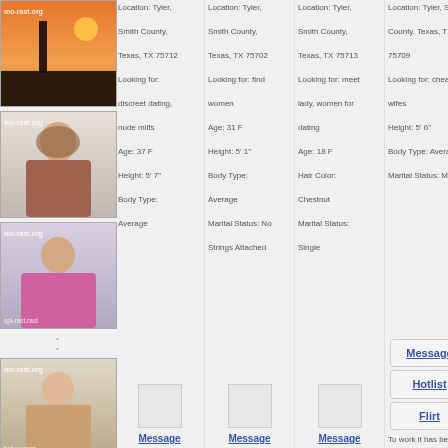[Figure (photo): Profile photo 1 - silhouette at sunset with watermark mo-rast.org]
[Figure (photo): Profile photo 2 - woman with long hair, watermark mo-rast.org]
[Figure (photo): Profile photo 3 - woman in pink top, watermark mo-rast.org]
[Figure (photo): Profile photo 4 bottom - young woman, label hot women]
Location: Tyler, Smith County, Texas, TX 75712
Looking for: discreet dating, nude milfs
Age: 37 F
Height: 5' 7"
Body Type: Average
Location: Tyler, Smith County, Texas, TX 75702
Looking for: find women
Age: 31 F
Height: 5' 1"
Body Type: Average
Marital Status: No Strings Attached
Location: Tyler, Smith County, Texas, TX 75713
Looking for: meet lady, women for dating
Age: 18 F
Hair Color: Chestnut
Marital Status: Single
Location: Tyler, Smith County, Texas, TX 75709
Looking for: cheating wifes
Height: 5' 6"
Body Type: Average
Marital Status: Married
Message
Hotlist
Flirt
Message
Message
Message
To work it has been